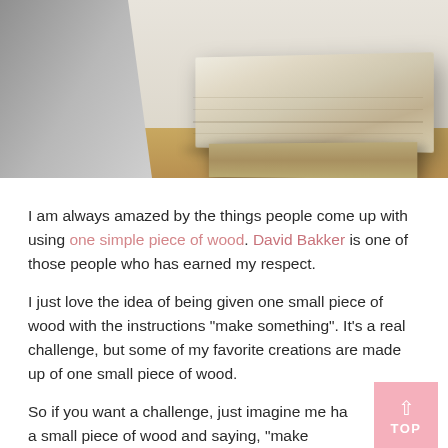[Figure (photo): Close-up photo of a wooden block or tablet stand made from a light-colored piece of wood, sitting on a wooden surface. A white/grey device (possibly a tablet or monitor) is visible on the left side.]
I am always amazed by the things people come up with using one simple piece of wood. David Bakker is one of those people who has earned my respect.
I just love the idea of being given one small piece of wood with the instructions "make something". It's a real challenge, but some of my favorite creations are made up of one small piece of wood.
So if you want a challenge, just imagine me handing you a small piece of wood and saying, "make